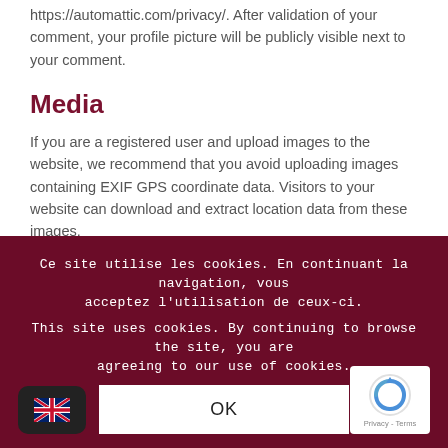https://automattic.com/privacy/. After validation of your comment, your profile picture will be publicly visible next to your comment.
Media
If you are a registered user and upload images to the website, we recommend that you avoid uploading images containing EXIF GPS coordinate data. Visitors to your website can download and extract location data from these images.
Contact forms
We retain contact form submissions for a specified period of time for customer service matters, but which we will not use
Ce site utilise les cookies. En continuant la navigation, vous acceptez l'utilisation de ceux-ci.
This site uses cookies. By continuing to browse the site, you are agreeing to our use of cookies.
OK